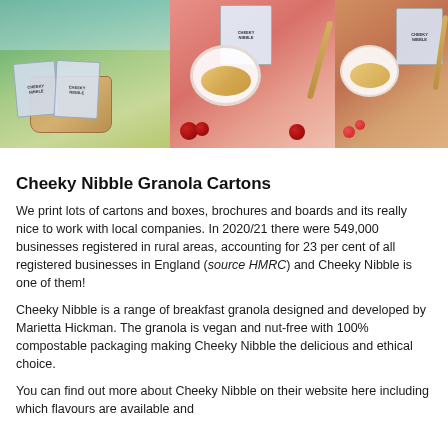[Figure (photo): A horizontal banner composed of three product photos side by side. Left panel shows Cheeky Nibble granola cartons on a wicker basket in a green field. Middle panel shows a bowl of granola with cherries on a pink background. Right panel shows a Cheeky Nibble box with a bowl of granola and berries on an orange background.]
Cheeky Nibble Granola Cartons
We print lots of cartons and boxes, brochures and boards and its really nice to work with local companies. In 2020/21 there were 549,000 businesses registered in rural areas, accounting for 23 per cent of all registered businesses in England (source HMRC) and Cheeky Nibble is one of them!
Cheeky Nibble is a range of breakfast granola designed and developed by Marietta Hickman. The granola is vegan and nut-free with 100% compostable packaging making Cheeky Nibble the delicious and ethical choice.
You can find out more about Cheeky Nibble on their website here including which flavours are available and